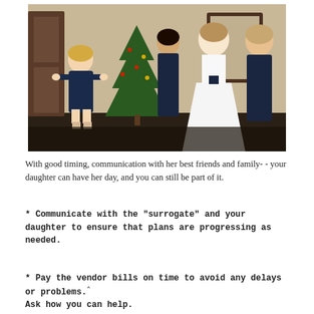[Figure (photo): Wedding photo showing a bride in a white gown with bridesmaids in navy blue dresses and an older woman (likely the mother of the bride) in a navy blue dress, standing in a room with a Christmas tree in the background.]
With good timing, communication with her best friends and family- - your daughter can have her day, and you can still be part of it.
* Communicate with the "surrogate" and your daughter to ensure that plans are progressing as needed.
* Pay the vendor bills on time to avoid any delays or problems. Ask how you can help.